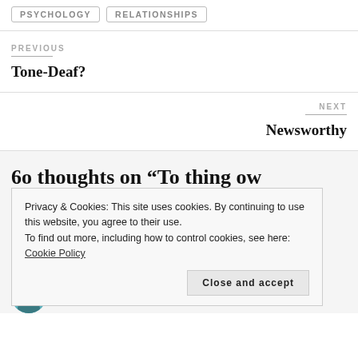PSYCHOLOGY
RELATIONSHIPS
PREVIOUS
Tone-Deaf?
NEXT
Newsworthy
6o thoughts on “To thing ow…
Privacy & Cookies: This site uses cookies. By continuing to use this website, you agree to their use.
To find out more, including how to control cookies, see here: Cookie Policy
Close and accept